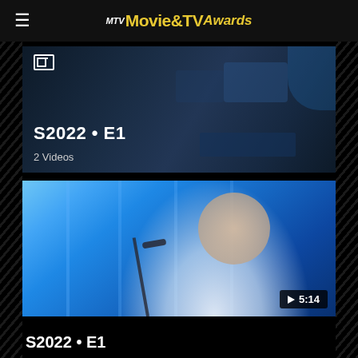MTV Movie & TV Awards
[Figure (screenshot): MTV Movie & TV Awards app/website screenshot showing episode thumbnail with drumming performance scene, labeled S2022 • E1, 2 Videos]
S2022 • E1
2 Videos
[Figure (screenshot): Video thumbnail showing a young man in white shirt at microphone on blue stage background with play button and duration 5:14]
S2022 • E1